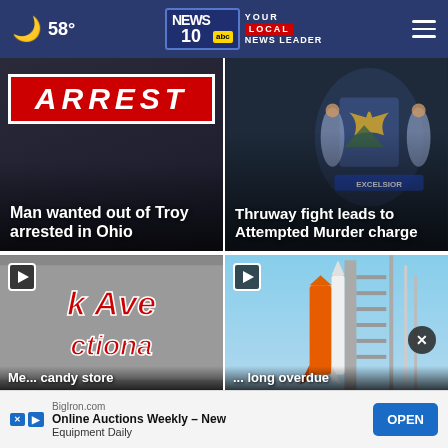58° NEWS10 YOUR LOCAL NEWS LEADER
[Figure (screenshot): ARREST banner with Man wanted out of Troy arrested in Ohio headline]
[Figure (screenshot): New York state seal image with Thruway fight leads to Attempted Murder charge headline]
[Figure (screenshot): Video card showing k Ave ctiona store signage with play button]
[Figure (photo): Rocket on launch pad (NASA SLS) with play button and close X button]
Me... oon candy store... long overdue
BigIron.com Online Auctions Weekly – New Equipment Daily OPEN